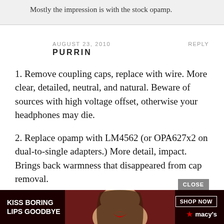Mostly the impression is with the stock opamp.
AUGUST 23, 2010
REPLY
PURRIN
1. Remove coupling caps, replace with wire. More clear, detailed, neutral, and natural. Beware of sources with high voltage offset, otherwise your headphones may die.
2. Replace opamp with LM4562 (or OPA627x2 on dual-to-single adapters.) More detail, impact. Brings back warmness that disappeared from cap removal.
[Figure (photo): Advertisement banner: Kiss Boring Lips Goodbye - Macy's Shop Now ad with a woman's face and red lips on a dark red/black background.]